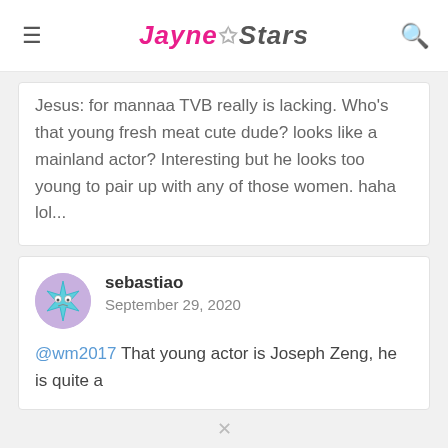JAYNE★STARS
Jesus: for mannaa TVB really is lacking. Who's that young fresh meat cute dude? looks like a mainland actor? Interesting but he looks too young to pair up with any of those women. haha lol...
sebastiao
September 29, 2020
@wm2017 That young actor is Joseph Zeng, he is quite a